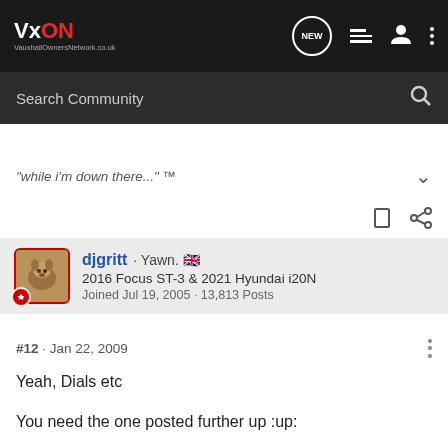[Figure (logo): VxON Vauxhall Owners Network logo in top navigation bar]
VxON VauxhallOwnersNetwork.co.uk — navigation bar with NEW, list, user, and dots icons, and Search Community search bar
"while i'm down there..." ™
djgritt · Yawn. 🇬🇧
2016 Focus ST-3 & 2021 Hyundai i20N
Joined Jul 19, 2005 · 13,813 Posts
#12 · Jan 22, 2009
Yeah, Dials etc
You need the one posted further up :up: